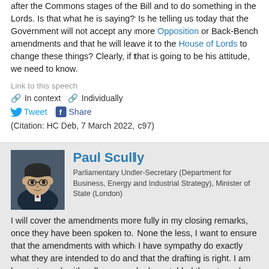after the Commons stages of the Bill and to do something in the Lords. Is that what he is saying? Is he telling us today that the Government will not accept any more Opposition or Back-Bench amendments and that he will leave it to the House of Lords to change these things? Clearly, if that is going to be his attitude, we need to know.
Link to this speech
🔗 In context  🔗 Individually
Tweet  Share
(Citation: HC Deb, 7 March 2022, c97)
Paul Scully
Parliamentary Under-Secretary (Department for Business, Energy and Industrial Strategy), Minister of State (London)
I will cover the amendments more fully in my closing remarks, once they have been spoken to. None the less, I want to ensure that the amendments with which I have sympathy do exactly what they are intended to do and that the drafting is right. I am happy to work with colleagues who have tabled them to make sure that we can get that right and to see what more we can do in the other place.